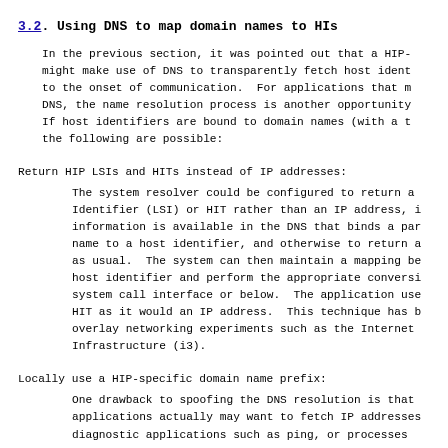3.2. Using DNS to map domain names to HIs
In the previous section, it was pointed out that a HIP-
might make use of DNS to transparently fetch host ident
to the onset of communication.  For applications that m
DNS, the name resolution process is another opportunity
If host identifiers are bound to domain names (with a t
the following are possible:
Return HIP LSIs and HITs instead of IP addresses:

The system resolver could be configured to return a
Identifier (LSI) or HIT rather than an IP address, i
information is available in the DNS that binds a par
name to a host identifier, and otherwise to return a
as usual.  The system can then maintain a mapping be
host identifier and perform the appropriate conversi
system call interface or below.  The application use
HIT as it would an IP address.  This technique has b
overlay networking experiments such as the Internet
Infrastructure (i3).
Locally use a HIP-specific domain name prefix:

One drawback to spoofing the DNS resolution is that
applications actually may want to fetch IP addresses
diagnostic applications such as ping, or processes